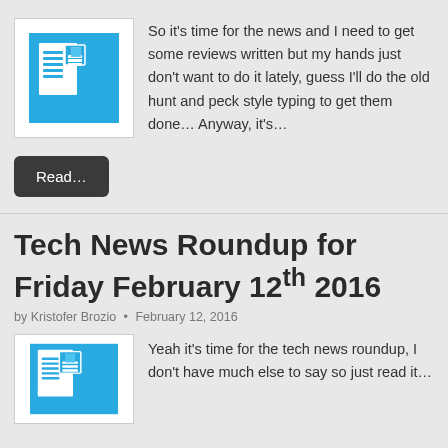[Figure (illustration): News/document icon: white newspaper icon on blue square background, inside a white-bordered box]
So it's time for the news and I need to get some reviews written but my hands just don't want to do it lately, guess I'll do the old hunt and peck style typing to get them done… Anyway, it's…
Read…
Tech News Roundup for Friday February 12th 2016
by Kristofer Brozio • February 12, 2016
[Figure (illustration): News/document icon: white newspaper icon on blue square background, inside a white-bordered box]
Yeah it's time for the tech news roundup, I don't have much else to say so just read it…